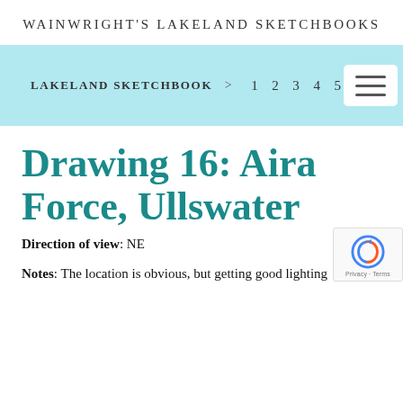WAINWRIGHT'S LAKELAND SKETCHBOOKS
LAKELAND SKETCHBOOK > 1 2 3 4 5
Drawing 16: Aira Force, Ullswater
Direction of view: NE
Notes: The location is obvious, but getting good lighting